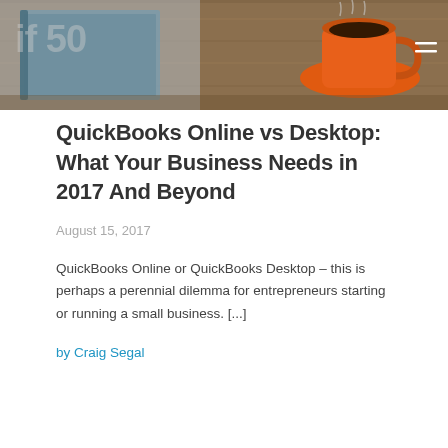[Figure (photo): Hero banner image showing a desk with a book, orange coffee cup with saucer, and wooden surface background. Partial logo visible top-left. Hamburger menu icon top-right in white.]
QuickBooks Online vs Desktop: What Your Business Needs in 2017 And Beyond
August 15, 2017
QuickBooks Online or QuickBooks Desktop – this is perhaps a perennial dilemma for entrepreneurs starting or running a small business. [...]
by Craig Segal